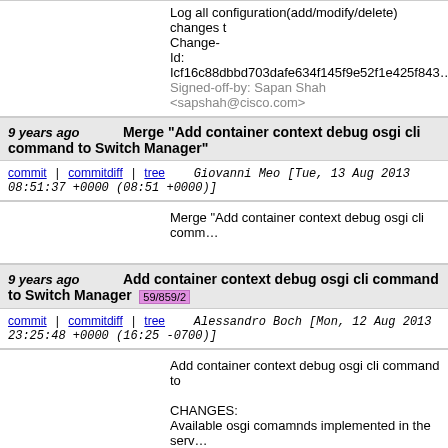Log all configuration(add/modify/delete) changes t… Change-Id: Icf16c88dbbd703dafe634f145f9e52f1e425f843… Signed-off-by: Sapan Shah <sapshah@cisco.com>
9 years ago   Merge "Add container context debug osgi cli command to Switch Manager"
commit | commitdiff | tree   Giovanni Meo [Tue, 13 Aug 2013 08:51:37 +0000 (08:51 +0000)]
Merge "Add container context debug osgi cli comm…
9 years ago   Add container context debug osgi cli command to Switch Manager  59/859/2
commit | commitdiff | tree   Alessandro Boch [Mon, 12 Aug 2013 23:25:48 +0000 (16:25 -0700)]
Add container context debug osgi cli command to…

CHANGES:
Available osgi comamnds implemented in the serv… do not allow to access the desired container insta… This change, following example in Gerrit #831, all… nodes and node connectors database contained i… for the desired container.